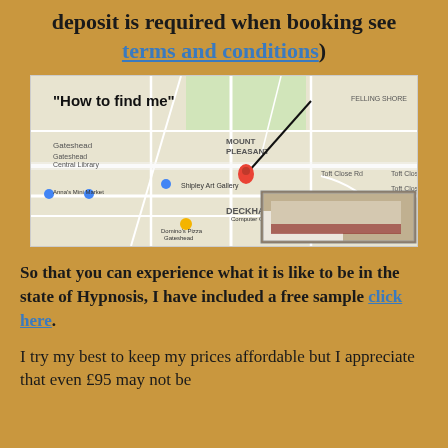deposit is required when booking see terms and conditions)
[Figure (map): Google map showing location near Gateshead/Mount Pleasant/Deckham area with a red pin marker and a photo of the building inset. Title reads 'How to find me'.]
So that you can experience what it is like to be in the state of Hypnosis, I have included a free sample click here.
I try my best to keep my prices affordable but I appreciate that even £95 may not be